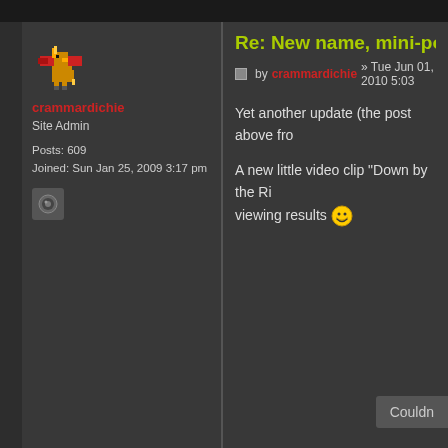Re: New name, mini-poster, an
post by crammardichie » Tue Jun 01, 2010 5:03
Yet another update (the post above fro
A new little video clip "Down by the Ri viewing results 😁
crammardichie
Site Admin
Posts: 609
Joined: Sun Jan 25, 2009 3:17 pm
Couldn